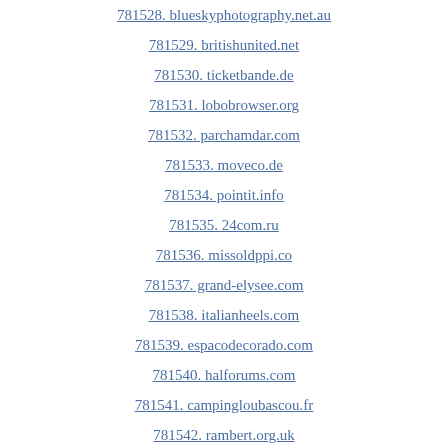781528. blueskyphotography.net.au
781529. britishunited.net
781530. ticketbande.de
781531. lobobrowser.org
781532. parchamdar.com
781533. moveco.de
781534. pointit.info
781535. 24com.ru
781536. missoldppi.co
781537. grand-elysee.com
781538. italianheels.com
781539. espacodecorado.com
781540. halforums.com
781541. campingloubascou.fr
781542. rambert.org.uk